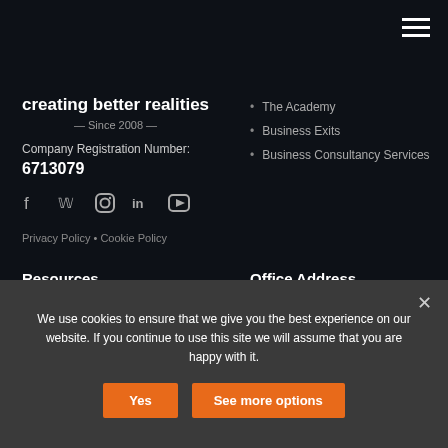creating better realities — Since 2008 —
Company Registration Number: 6713079
The Academy
Business Exits
Business Consultancy Services
Privacy Policy • Cookie Policy
Resources
Insights Blog
The Book
Contact Us
Office Address
Trident House
46-48 Webber Street
London
SE1 8QW
We use cookies to ensure that we give you the best experience on our website. If you continue to use this site we will assume that you are happy with it.